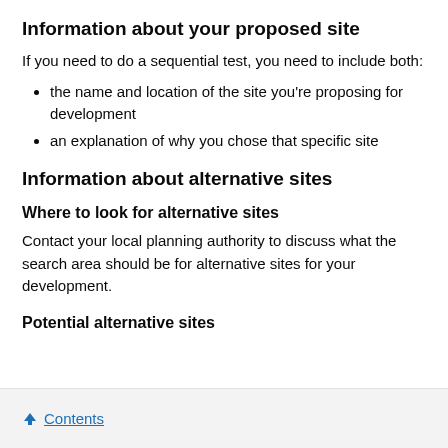Information about your proposed site
If you need to do a sequential test, you need to include both:
the name and location of the site you're proposing for development
an explanation of why you chose that specific site
Information about alternative sites
Where to look for alternative sites
Contact your local planning authority to discuss what the search area should be for alternative sites for your development.
Potential alternative sites
↑ Contents